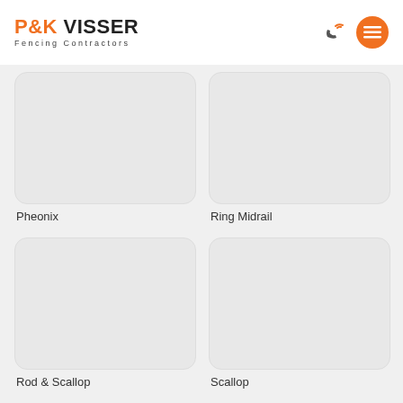P&K VISSER Fencing Contractors
[Figure (photo): Fencing product image placeholder - Pheonix]
Pheonix
[Figure (photo): Fencing product image placeholder - Ring Midrail]
Ring Midrail
[Figure (photo): Fencing product image placeholder - Rod & Scallop]
Rod & Scallop
[Figure (photo): Fencing product image placeholder - Scallop]
Scallop